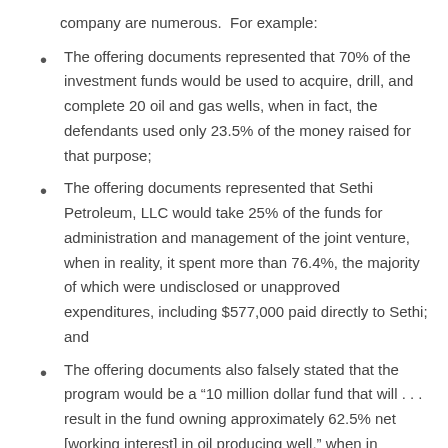company are numerous.  For example:
The offering documents represented that 70% of the investment funds would be used to acquire, drill, and complete 20 oil and gas wells, when in fact, the defendants used only 23.5% of the money raised for that purpose;
The offering documents represented that Sethi Petroleum, LLC would take 25% of the funds for administration and management of the joint venture, when in reality, it spent more than 76.4%, the majority of which were undisclosed or unapproved expenditures, including $577,000 paid directly to Sethi; and
The offering documents also falsely stated that the program would be a “10 million dollar fund that will . . . result in the fund owning approximately 62.5% net [working interest] in oil producing well,” when in